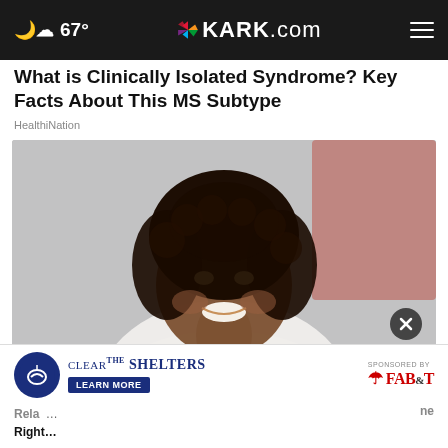67° KARK.com
What is Clinically Isolated Syndrome? Key Facts About This MS Subtype
HealthiNation
[Figure (photo): A smiling Black female doctor in a white lab coat with a stethoscope, laughing, in a medical setting with a blurred red background element]
Rela... ...ne
Righ...
Clear the Shelters — Learn More — Sponsored by FAB&T